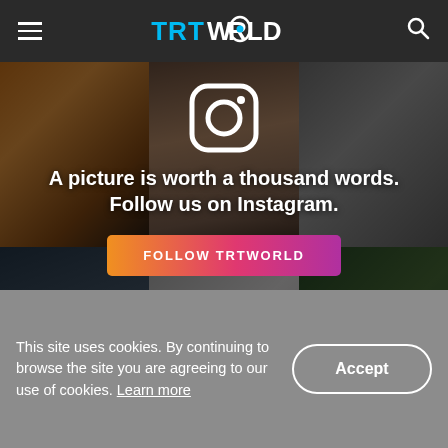TRT WORLD
[Figure (photo): TRT World Instagram promotional banner with collage of photos showing a warm fire scene, a man in traditional costume, cemetery/tombs, a weaver, an elderly woman in hijab, and a woman with a cat. Instagram icon at top center. Text: A picture is worth a thousand words. Follow us on Instagram. Button: FOLLOW TRTWORLD]
This site uses cookies. By continuing to browse the site you are agreeing to our use of cookies. Learn more
Accept